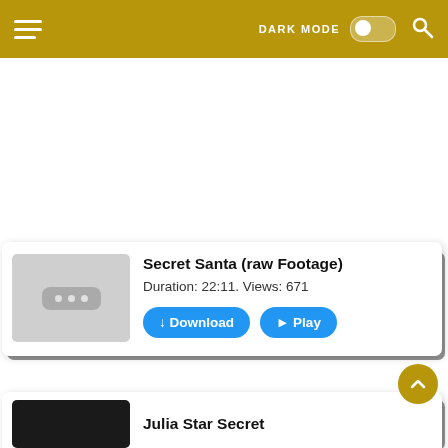DARK MODE [toggle] [search]
[Figure (screenshot): Video listing card for 'Secret Santa (raw Footage)' showing thumbnail with loading indicator, duration 22:11, views 671, Download and Play buttons]
Secret Santa (raw Footage)
Duration: 22:11. Views: 671
↓ Download
► Play
Julia Star Secret